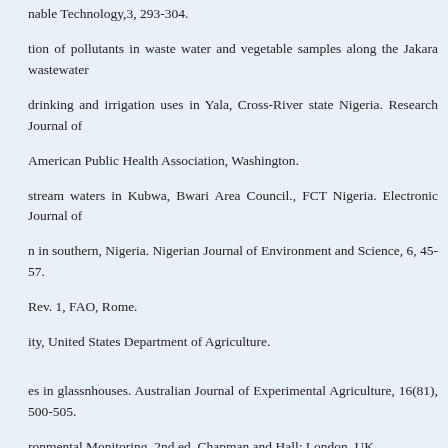nable Technology,3, 293-304.
tion of pollutants in waste water and vegetable samples along the Jakara wastewater
drinking and irrigation uses in Yala, Cross-River state Nigeria. Research Journal of
American Public Health Association, Washington.
stream waters in Kubwa, Bwari Area Council., FCT Nigeria. Electronic Journal of
n in southern, Nigeria. Nigerian Journal of Environment and Science, 6, 45-57.
Rev. 1, FAO, Rome.
ity, United States Department of Agriculture.
es in glassnhouses. Australian Journal of Experimental Agriculture, 16(81), 500-505.
ronmental Monitoring. 2nd ed. Chapman and Hall; London, UK.
d., 233.